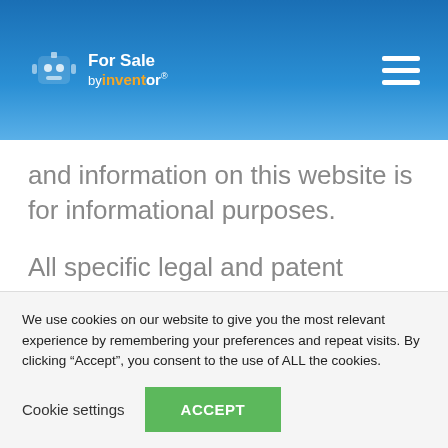[Figure (logo): For Sale by Inventor logo with robot icon and navigation hamburger menu on blue gradient header]
and information on this website is for informational purposes.
All specific legal and patent related matters are encouraged to contact the independent patent law firm Cramer Patent & Design...
We use cookies on our website to give you the most relevant experience by remembering your preferences and repeat visits. By clicking “Accept”, you consent to the use of ALL the cookies.
Cookie settings
ACCEPT